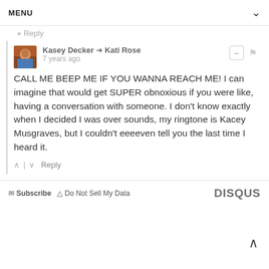MENU
Reply
Kasey Decker → Kati Rose
7 years ago
CALL ME BEEP ME IF YOU WANNA REACH ME! I can imagine that would get SUPER obnoxious if you were like, having a conversation with someone. I don't know exactly when I decided I was over sounds, my ringtone is Kacey Musgraves, but I couldn't eeeeven tell you the last time I heard it.
Reply
Subscribe  Do Not Sell My Data  DISQUS